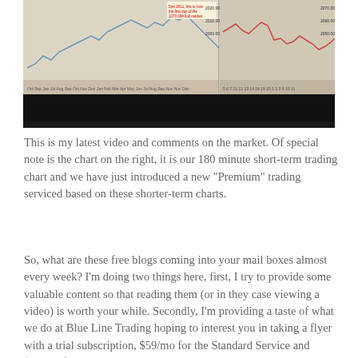[Figure (screenshot): Screenshot of a financial trading video showing two candlestick/line charts side by side. The left chart shows a longer-term market view and the right shows a 180 minute short-term trading chart. Both have price data and annotations. Below the charts is a black bar (video controls area).]
This is my latest video and comments on the market. Of special note is the chart on the right, it is our 180 minute short-term trading chart and we have just introduced a new "Premium" trading serviced based on these shorter-term charts.
So, what are these free blogs coming into your mail boxes almost every week? I'm doing two things here, first, I try to provide some valuable content so that reading them (or in they case viewing a video) is worth your while. Secondly, I'm providing a taste of what we do at Blue Line Trading hoping to interest you in taking a flyer with a trial subscription, $59/mo for the Standard Service and $99/mo for the Premium Service (see below).